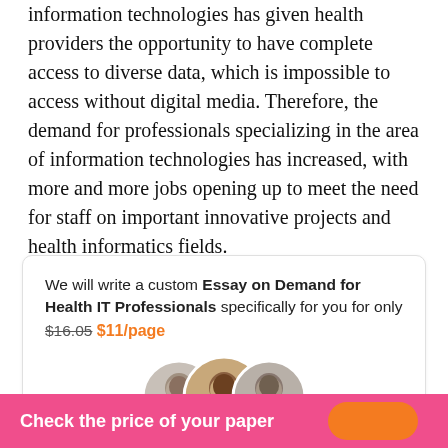information technologies has given health providers the opportunity to have complete access to diverse data, which is impossible to access without digital media. Therefore, the demand for professionals specializing in the area of information technologies has increased, with more and more jobs opening up to meet the need for staff on important innovative projects and health informatics fields.
We will write a custom Essay on Demand for Health IT Professionals specifically for you for only $16.05 $11/page
[Figure (illustration): Three overlapping circular avatar photos of writers]
807 certified writers online
Check the price of your paper